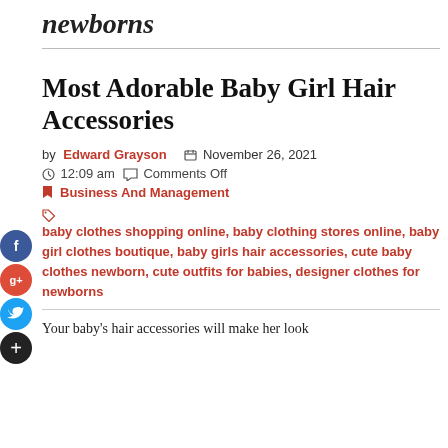newborns
Most Adorable Baby Girl Hair Accessories
by Edward Grayson  November 26, 2021
12:09 am  Comments Off
Business And Management
baby clothes shopping online, baby clothing stores online, baby girl clothes boutique, baby girls hair accessories, cute baby clothes newborn, cute outfits for babies, designer clothes for newborns
Your baby's hair accessories will make her look